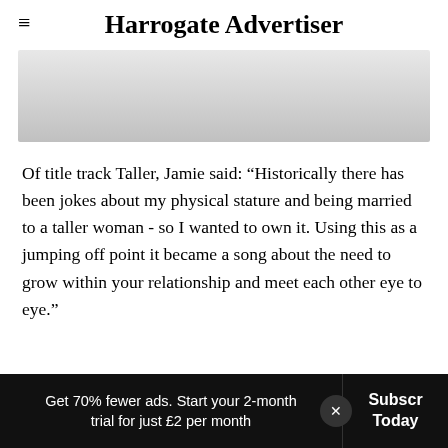Harrogate Advertiser
[Figure (other): Grey gradient advertisement banner placeholder]
Of title track Taller, Jamie said: “Historically there has been jokes about my physical stature and being married to a taller woman - so I wanted to own it. Using this as a jumping off point it became a song about the need to grow within your relationship and meet each other eye to eye.”
Get 70% fewer ads. Start your 2-month trial for just £2 per month | Subscribe Today